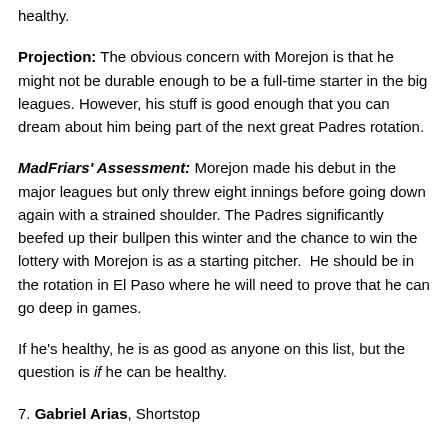healthy.
Projection: The obvious concern with Morejon is that he might not be durable enough to be a full-time starter in the big leagues. However, his stuff is good enough that you can dream about him being part of the next great Padres rotation.
MadFriars' Assessment: Morejon made his debut in the major leagues but only threw eight innings before going down again with a strained shoulder. The Padres significantly beefed up their bullpen this winter and the chance to win the lottery with Morejon is as a starting pitcher.  He should be in the rotation in El Paso where he will need to prove that he can go deep in games.
If he's healthy, he is as good as anyone on this list, but the question is if he can be healthy.
7. Gabriel Arias, Shortstop